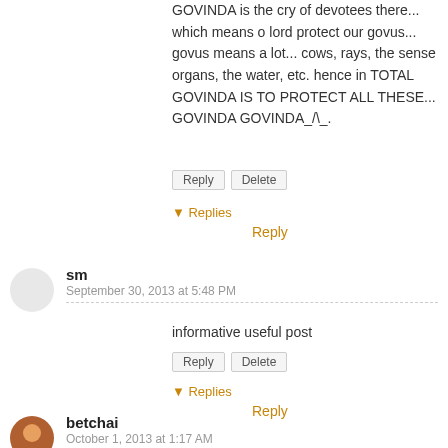GOVINDA is the cry of devotees there... which means o lord protect our govus... govus means a lot... cows, rays, the sense organs, the water, etc. hence in TOTAL GOVINDA IS TO PROTECT ALL THESE... GOVINDA GOVINDA_/\_.
Reply   Delete
▾ Replies
Reply
sm
September 30, 2013 at 5:48 PM
informative useful post
Reply   Delete
▾ Replies
Reply
betchai
October 1, 2013 at 1:17 AM
you have provided a wealth of information here for the traveler, Arti, such details you put into, really very helpful for those who would check this place someday, I wish I could
Reply   Delete